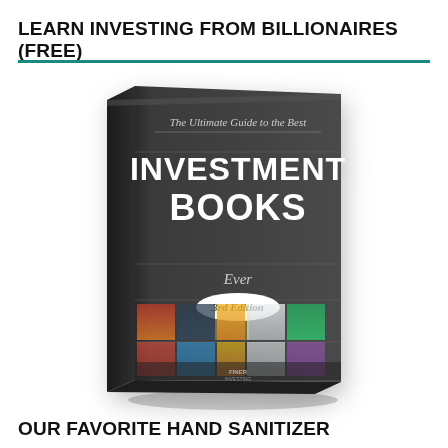LEARN INVESTING FROM BILLIONAIRES (FREE)
[Figure (illustration): 3D rendered book cover titled 'The Ultimate Guide to the Best INVESTMENT BOOKS Ever, 3rd Edition' with a dark gray cover showing multiple book spines in the lower portion]
OUR FAVORITE HAND SANITIZER